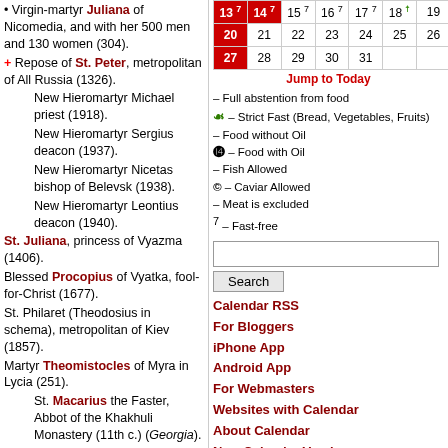Virgin-martyr Juliana of Nicomedia, and with her 500 men and 130 women (304).
+ Repose of St. Peter, metropolitan of All Russia (1326).
New Hieromartyr Michael priest (1918).
New Hieromartyr Sergius deacon (1937).
New Hieromartyr Nicetas bishop of Belevsk (1938).
New Hieromartyr Leontius deacon (1940).
St. Juliana, princess of Vyazma (1406).
Blessed Procopius of Vyatka, fool-for-Christ (1677).
St. Philaret (Theodosius in schema), metropolitan of Kiev (1857).
Martyr Theomistocles of Myra in Lycia (251).
St. Macarius the Faster, Abbot of the Khakhuli Monastery (11th c.) (Georgia).
St. Anthony II The Catholicos of Georgia
| 13 7 | 14 7 | 15 7 | 16 7 | 17 7 | 18 S | 19 |
| --- | --- | --- | --- | --- | --- | --- |
| 20 | 21 | 22 | 23 | 24 | 25 | 26 |
| 27 | 28 | 29 | 30 | 31 |  |  |
Jump to Today
– Full abstention from food
S – Strict Fast (Bread, Vegetables, Fruits)
– Food without Oil
@ – Food with Oil
– Fish Allowed
C – Caviar Allowed
– Meat is excluded
7 – Fast-free
Calendar RSS
For Bloggers
iPhone App
Android App
For Webmasters
Websites with Calendar
About Calendar
New Calendar Version
| Paschalion |
| --- |
| Feb 17 – Sunday of the Publican |